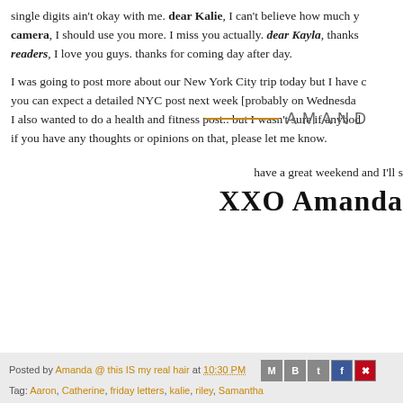single digits ain't okay with me. dear Kalie, I can't believe how much y... camera, I should use you more. I miss you actually. dear Kayla, thanks... readers, I love you guys. thanks for coming day after day.
I was going to post more about our New York City trip today but I have c... you can expect a detailed NYC post next week [probably on Wednesda... I also wanted to do a health and fitness post.. but I wasn't sure if anybo... if you have any thoughts or opinions on that, please let me know.
have a great weekend and I'll s...
XXO Amanda
[Figure (logo): Blog logo with orange horizontal line and 'AMANDA' text in spaced uppercase]
Posted by Amanda @ this IS my real hair at 10:30 PM  Tag: Aaron, Catherine, friday letters, kalie, riley, Samantha